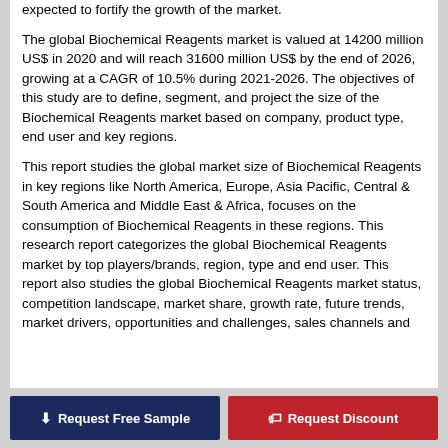expected to fortify the growth of the market.

The global Biochemical Reagents market is valued at 14200 million US$ in 2020 and will reach 31600 million US$ by the end of 2026, growing at a CAGR of 10.5% during 2021-2026. The objectives of this study are to define, segment, and project the size of the Biochemical Reagents market based on company, product type, end user and key regions.

This report studies the global market size of Biochemical Reagents in key regions like North America, Europe, Asia Pacific, Central & South America and Middle East & Africa, focuses on the consumption of Biochemical Reagents in these regions. This research report categorizes the global Biochemical Reagents market by top players/brands, region, type and end user. This report also studies the global Biochemical Reagents market status, competition landscape, market share, growth rate, future trends, market drivers, opportunities and challenges, sales channels and